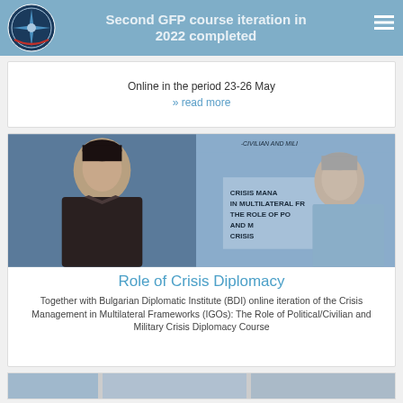Second GFP course iteration in 2022 completed
Online in the period 23-26 May
» read more
[Figure (photo): Two men visible: on the left a man in a dark suit, on the right an older man in a light blue shirt, with a backdrop reading 'CRISIS MANAGEMENT IN MULTILATERAL FRAMEWORKS: THE ROLE OF POLITICAL/CIVILIAN AND MILITARY CRISIS DIPLOMACY']
Role of Crisis Diplomacy
Together with Bulgarian Diplomatic Institute (BDI) online iteration of the Crisis Management in Multilateral Frameworks (IGOs): The Role of Political/Civilian and Military Crisis Diplomacy Course
[Figure (photo): Partial view of a bottom card with images, partially cut off]